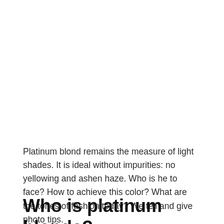Platinum blond remains the measure of light shades. It is ideal without impurities: no yellowing and ashen haze. Who is he to face? How to achieve this color? What are the tones of fashion today? We tell and give photo tips.
Who is platinum blonde?